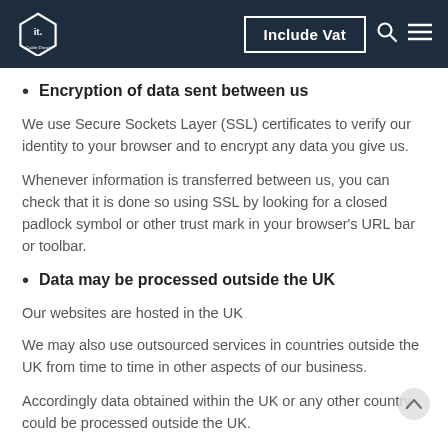Include Vat
Encryption of data sent between us
We use Secure Sockets Layer (SSL) certificates to verify our identity to your browser and to encrypt any data you give us.
Whenever information is transferred between us, you can check that it is done so using SSL by looking for a closed padlock symbol or other trust mark in your browser's URL bar or toolbar.
Data may be processed outside the UK
Our websites are hosted in the UK
We may also use outsourced services in countries outside the UK from time to time in other aspects of our business.
Accordingly data obtained within the UK or any other country could be processed outside the UK.